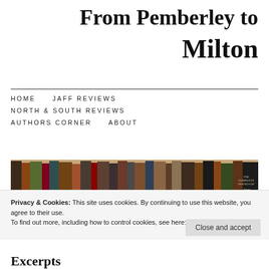From Pemberley to Milton
HOME   JAFF REVIEWS   NORTH & SOUTH REVIEWS   AUTHORS CORNER   ABOUT
[Figure (photo): A row of books on a shelf, including Jane Austen collected novels]
Privacy & Cookies: This site uses cookies. By continuing to use this website, you agree to their use.
To find out more, including how to control cookies, see here: Cookie Policy
Close and accept
Excerpts